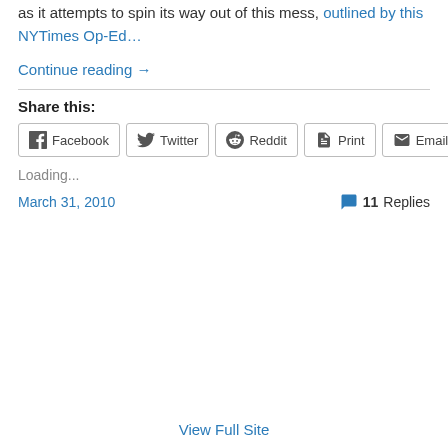as it attempts to spin its way out of this mess, outlined by this NYTimes Op-Ed…
Continue reading →
Share this:
Facebook  Twitter  Reddit  Print  Email
Loading...
March 31, 2010
11 Replies
View Full Site